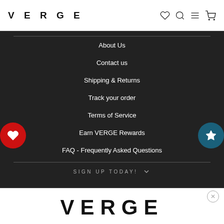VERGE
About Us
Contact us
Shipping & Returns
Track your order
Terms of Service
Earn VERGE Rewards
FAQ - Frequently Asked Questions
SIGN UP TODAY!
[Figure (logo): VERGE logo in large bold black letters on white background]
✕